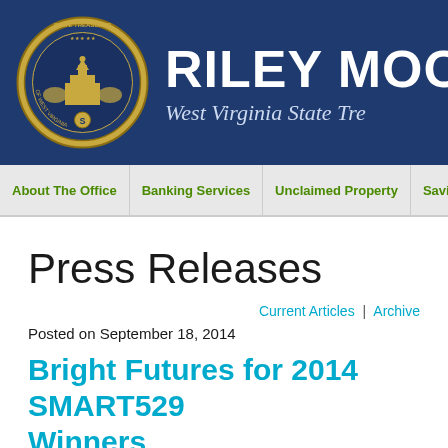[Figure (logo): West Virginia State Treasurer seal and header banner with name RILEY MOO (truncated) and subtitle West Virginia State Tre (truncated)]
About The Office | Banking Services | Unclaimed Property | Savings
Press Releases
Current Articles | Archives
Posted on September 18, 2014
Bright Futures for 2014 SMART529 Winners
Charleston – Fifteen West Virginia school children are on their w...